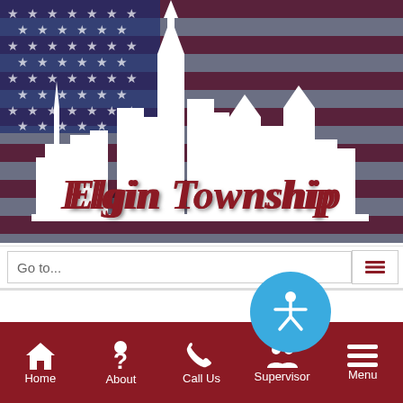[Figure (logo): Elgin Township logo with city skyline silhouette in white over an American flag background. 'Elgin Township' written in dark red cursive script.]
Go to...
[Figure (other): Blue circular accessibility icon button showing a person with arms outstretched]
[Figure (other): Search input bar with X close button]
Home | About | Call Us | Supervisor | Menu